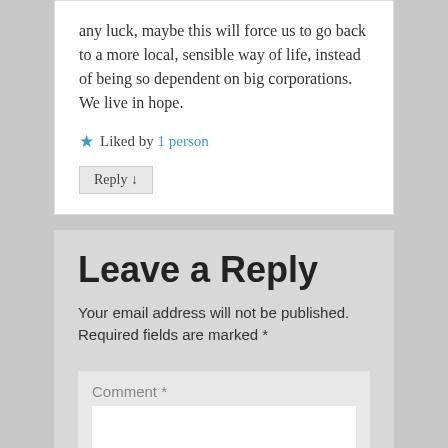any luck, maybe this will force us to go back to a more local, sensible way of life, instead of being so dependent on big corporations. We live in hope.
★ Liked by 1 person
Reply ↓
Leave a Reply
Your email address will not be published. Required fields are marked *
Comment *